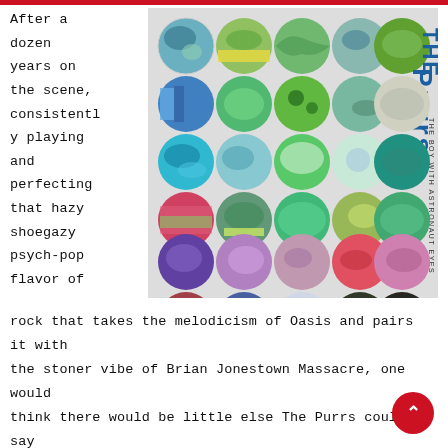[Figure (illustration): Album cover for 'The Boy With Astronaut Eyes' by The Purrs. A grid of 30 colorful circles on a white/light gray background, each circle containing abstract colorful imagery in greens, blues, purples, reds, and earth tones. The band name 'The Purrs' and album title 'The Boy With Astronaut Eyes' are written vertically on the right side.]
After a dozen years on the scene, consistently playing and perfecting that hazy shoegazy psych-pop flavor of rock that takes the melodicism of Oasis and pairs it with the stoner vibe of Brian Jonestown Massacre, one would think there would be little else The Purrs could say this point in their career. And one would be wrong.